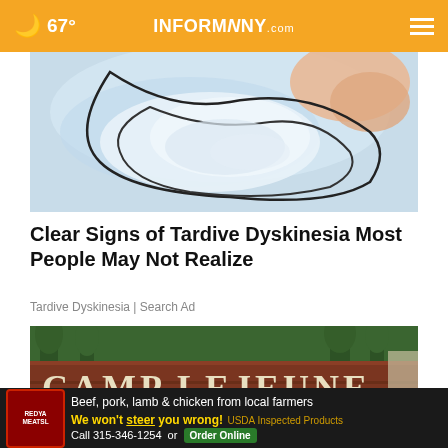67° INFORMNINY.com
[Figure (illustration): Abstract illustration related to Tardive Dyskinesia, showing blue and white shapes with an outline of hands/movement]
Clear Signs of Tardive Dyskinesia Most People May Not Realize
Tardive Dyskinesia | Search Ad
[Figure (photo): Photo of Camp Lejeune brick entrance sign reading CAMP LEJEUNE HOME OF with trees in background]
Beef, pork, lamb & chicken from local farmers We won't steer you wrong! USDA Inspected Products Call 315-346-1254 or Order Online